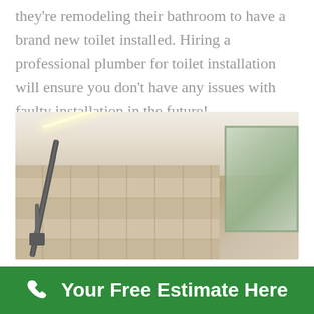they're remodeling their bathroom to have a brand new toilet installed. Hiring a professional plumber for toilet installation will ensure you don't have any issues with faulty installation in the future!
[Figure (photo): Blurred photo of a modern bathroom interior with beige/stone tile walls, a shower fixture on the left, a mirror or glass cabinet on the right, and LED ceiling light strip visible at the top.]
Your Free Estimate Here